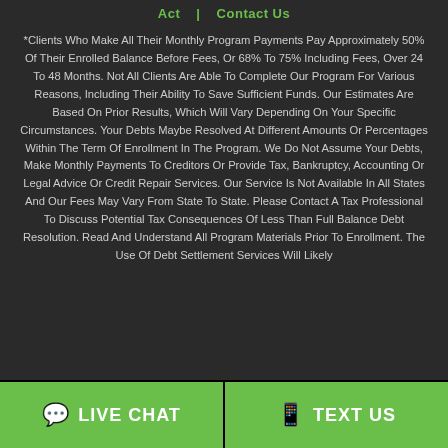Act  Contact Us
*Clients Who Make All Their Monthly Program Payments Pay Approximately 50% Of Their Enrolled Balance Before Fees, Or 68% To 75% Including Fees, Over 24 To 48 Months. Not All Clients Are Able To Complete Our Program For Various Reasons, Including Their Ability To Save Sufficient Funds. Our Estimates Are Based On Prior Results, Which Will Vary Depending On Your Specific Circumstances. Your Debts Maybe Resolved At Different Amounts Or Percentages Within The Term Of Enrollment In The Program. We Do Not Assume Your Debts, Make Monthly Payments To Creditors Or Provide Tax, Bankruptcy, Accounting Or Legal Advice Or Credit Repair Services. Our Service Is Not Available In All States And Our Fees May Vary From State To State. Please Contact A Tax Professional To Discuss Potential Tax Consequences Of Less Than Full Balance Debt Resolution. Read And Understand All Program Materials Prior To Enrollment. The Use Of Debt Settlement Services Will Likely
LIVE CHAT  TEXT US